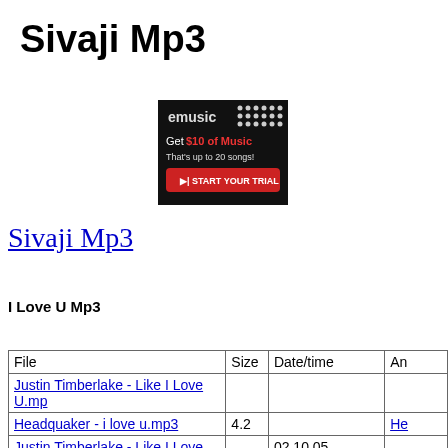Sivaji Mp3
[Figure (other): emusic advertisement banner: 'eMusic - Get $10 of Music - That's up to 20 songs! - START YOUR TRIAL']
Sivaji Mp3
I Love U Mp3
| File | Size | Date/time | An |
| --- | --- | --- | --- |
| Justin Timberlake - Like I Love U.mp |  |  |  |
| Headquaker - i love u.mp3 | 4.2 |  | He |
| Justin Timberlake - Like I Love U.mp | 3.9 | 02.10.05 17:41:16 | Jus |